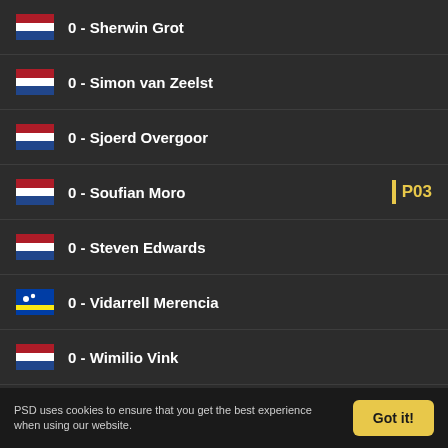0 - Sherwin Grot
0 - Simon van Zeelst
0 - Sjoerd Overgoor
0 - Soufian Moro
0 - Steven Edwards
0 - Vidarrell Merencia
0 - Wimilio Vink
0 - Wouter Marinus
PSD uses cookies to ensure that you get the best experience when using our website.